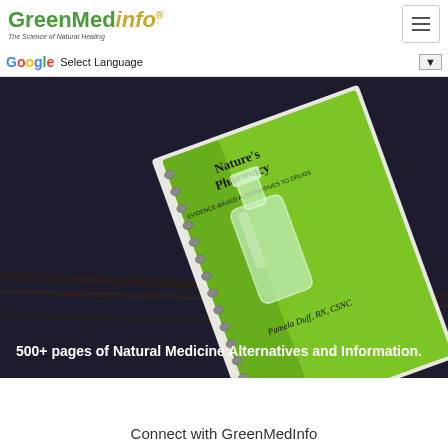GreenMedInfo® - The Science of Natural Healing
Select Language ▼
[Figure (photo): A spiral-bound book titled 'Nature's Pharmacy: Evidence-Based Alternatives to Drugs' by Pamela Duff, RN, CSNC, displayed against a dark background. The book cover features a green color scheme with a glass bottle/flask illustration.]
500+ pages of Natural Medicine Alternatives and Information.
Connect with GreenMedInfo